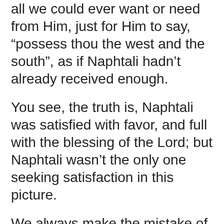all we could ever want or need from Him, just for Him to say, “possess thou the west and the south”, as if Naphtali hadn’t already received enough.
You see, the truth is, Naphtali was satisfied with favor, and full with the blessing of the Lord; but Naphtali wasn’t the only one seeking satisfaction in this picture.
We always make the mistake of seeking our own satisfaction, and forgetting that it really isn’t about our satisfaction at all! It is about God’s satisfaction!